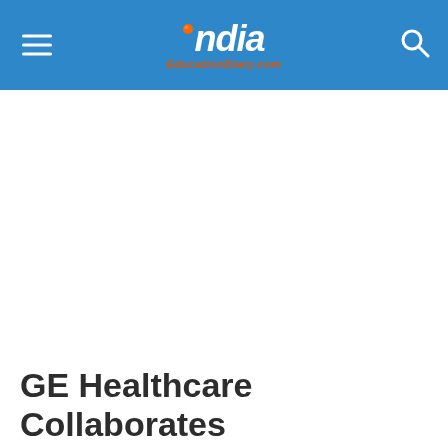India EducationDiary.com
GE Healthcare Collaborates